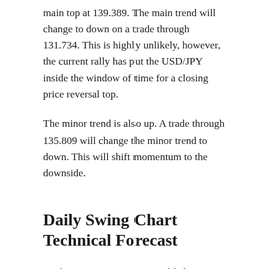main top at 139.389. The main trend will change to down on a trade through 131.734. This is highly unlikely, however, the current rally has put the USD/JPY inside the window of time for a closing price reversal top.
The minor trend is also up. A trade through 135.809 will change the minor trend to down. This will shift momentum to the downside.
Daily Swing Chart Technical Forecast
Trader reaction to 138.962 is likely to determine the direction of the USD/JPY on Thursday.
Bullish Scenario